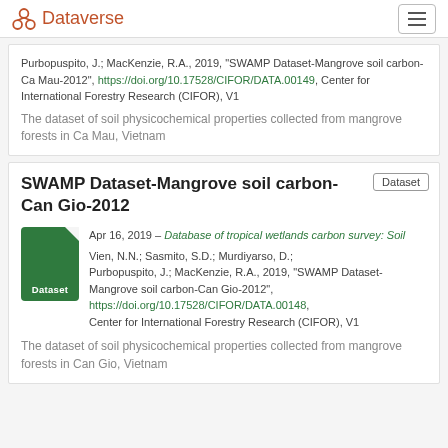Dataverse
Purbopuspito, J.; MacKenzie, R.A., 2019, "SWAMP Dataset-Mangrove soil carbon-Ca Mau-2012", https://doi.org/10.17528/CIFOR/DATA.00149, Center for International Forestry Research (CIFOR), V1
The dataset of soil physicochemical properties collected from mangrove forests in Ca Mau, Vietnam
SWAMP Dataset-Mangrove soil carbon-Can Gio-2012
Apr 16, 2019 – Database of tropical wetlands carbon survey: Soil
Vien, N.N.; Sasmito, S.D.; Murdiyarso, D.; Purbopuspito, J.; MacKenzie, R.A., 2019, "SWAMP Dataset-Mangrove soil carbon-Can Gio-2012", https://doi.org/10.17528/CIFOR/DATA.00148, Center for International Forestry Research (CIFOR), V1
The dataset of soil physicochemical properties collected from mangrove forests in Can Gio, Vietnam